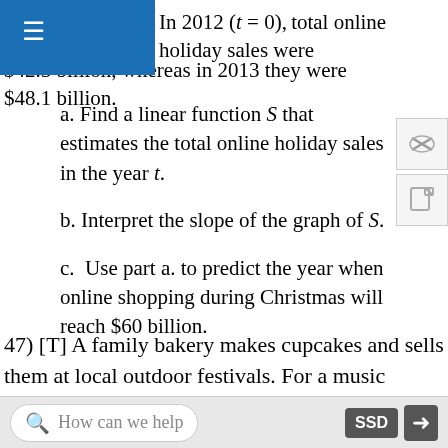In 2012 (t = 0), total online holiday sales were $42.3 billion, whereas in 2013 they were $48.1 billion.
a. Find a linear function S that estimates the total online holiday sales in the year t.
b. Interpret the slope of the graph of S.
c. Use part a. to predict the year when online shopping during Christmas will reach $60 billion.
47) [T] A family bakery makes cupcakes and sells them at local outdoor festivals. For a music festival, there is a fixed cost of $125 to set up a cupcake stand. The owner estimates that it costs $0.75 to make each cupcake. The owner is interested in determining the total cost C as a function of number of cupcakes